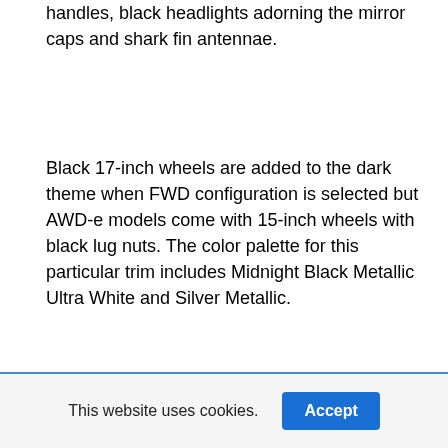handles, black headlights adorning the mirror caps and shark fin antennae.
Black 17-inch wheels are added to the dark theme when FWD configuration is selected but AWD-e models come with 15-inch wheels with black lug nuts. The color palette for this particular trim includes Midnight Black Metallic Ultra White and Silver Metallic.
[Figure (photo): Partial view of a red/maroon car from roof level, parked in front of a brick building with windows, shot from the side showing the roof and upper body.]
This website uses cookies.  Accept